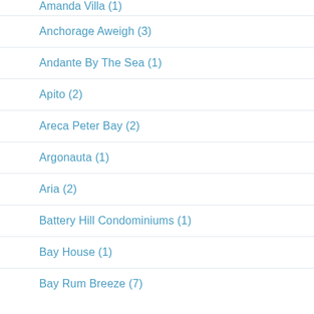Amanda Villa (1)
Anchorage Aweigh (3)
Andante By The Sea (1)
Apito (2)
Areca Peter Bay (2)
Argonauta (1)
Aria (2)
Battery Hill Condominiums (1)
Bay House (1)
Bay Rum Breeze (7)